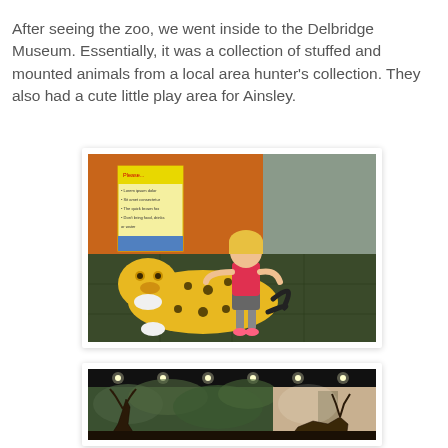After seeing the zoo, we went inside to the Delbridge Museum. Essentially, it was a collection of stuffed and mounted animals from a local area hunter's collection. They also had a cute little play area for Ainsley.
[Figure (photo): A young child in a pink shirt and grey shorts rides on top of a large stuffed/toy cheetah figure in a play area with an orange wall and green tiled floor. A sign reading 'Please...' is visible in the background.]
[Figure (photo): Interior of the Delbridge Museum showing mounted animals in a naturalistic diorama setting with green foliage backdrops, spot lighting on the ceiling, and tan/beige walls on the right side.]